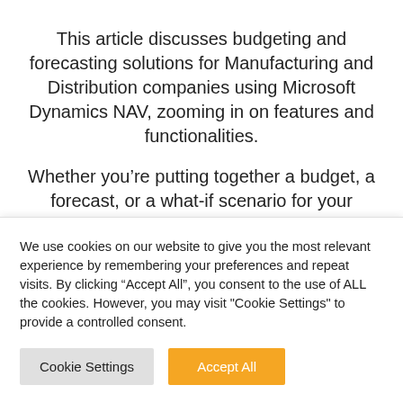This article discusses budgeting and forecasting solutions for Manufacturing and Distribution companies using Microsoft Dynamics NAV, zooming in on features and functionalities.
Whether you’re putting together a budget, a forecast, or a what-if scenario for your organization, they all entail historical actuals and
We use cookies on our website to give you the most relevant experience by remembering your preferences and repeat visits. By clicking “Accept All”, you consent to the use of ALL the cookies. However, you may visit “Cookie Settings” to provide a controlled consent.
Cookie Settings
Accept All